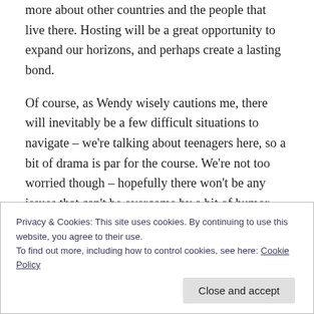more about other countries and the people that live there. Hosting will be a great opportunity to expand our horizons, and perhaps create a lasting bond.
Of course, as Wendy wisely cautions me, there will inevitably be a few difficult situations to navigate – we're talking about teenagers here, so a bit of drama is par for the course. We're not too worried though – hopefully there won't be any issues that can't be overcome by a bit of humor, patience, and an open mind.
Privacy & Cookies: This site uses cookies. By continuing to use this website, you agree to their use. To find out more, including how to control cookies, see here: Cookie Policy
Close and accept